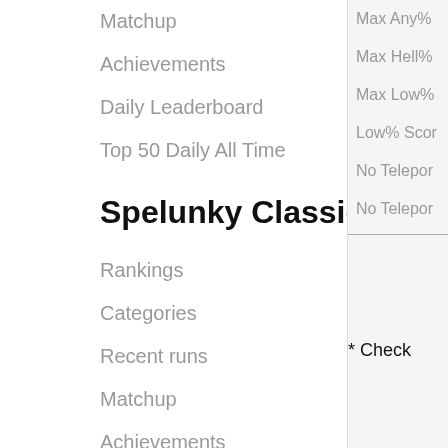Matchup
Achievements
Daily Leaderboard
Top 50 Daily All Time
Spelunky Classic
Rankings
Categories
Recent runs
Matchup
Achievements
Max Any%
Max Hell%
Max Low%
Low% Scor
No Teleport
No Teleport
* Check